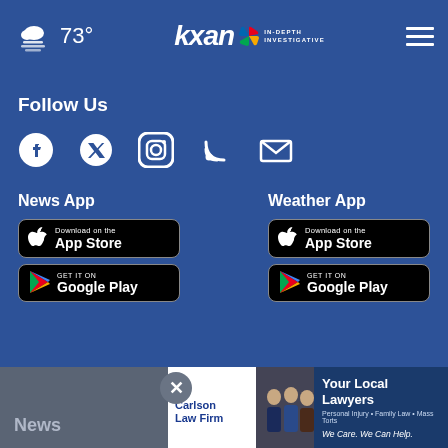73° | KXAN In-Depth Investigative
Follow Us
[Figure (infographic): Social media icons: Facebook, Twitter, Instagram, RSS, Email]
News App
[Figure (infographic): Download on the App Store button]
[Figure (infographic): Get it on Google Play button]
Weather App
[Figure (infographic): Download on the App Store button]
[Figure (infographic): Get it on Google Play button]
News
[Figure (infographic): The Carlson Law Firm advertisement: Your Local Lawyers - Personal Injury, Family Law, Mass Torts - We Care. We Can Help.]